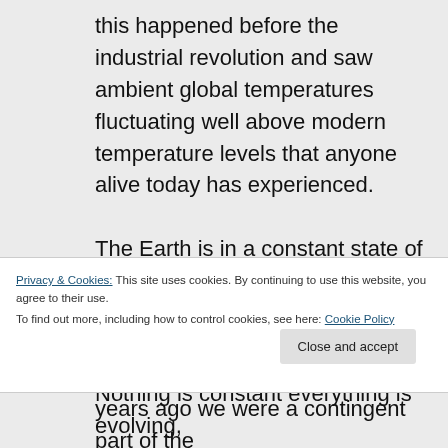this happened before the industrial revolution and saw ambient global temperatures fluctuating well above modern temperature levels that anyone alive today has experienced. The Earth is in a constant state of flux, it always has and always will be, hear in the UK we are living on a northern hemisphere island group but twenty thousand + years ago we were a contingent part of the European continent, on the border between
Privacy & Cookies: This site uses cookies. By continuing to use this website, you agree to their use.
To find out more, including how to control cookies, see here: Cookie Policy
Nothing is constant everything is evolving,